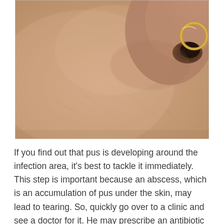[Figure (photo): Close-up photograph of a person's nose with a gold nose ring/hoop piercing, showing skin texture and fine hairs around the nose area.]
If you find out that pus is developing around the infection area, it's best to tackle it immediately. This step is important because an abscess, which is an accumulation of pus under the skin, may lead to tearing. So, quickly go over to a clinic and see a doctor for it. He may prescribe an antibiotic for you